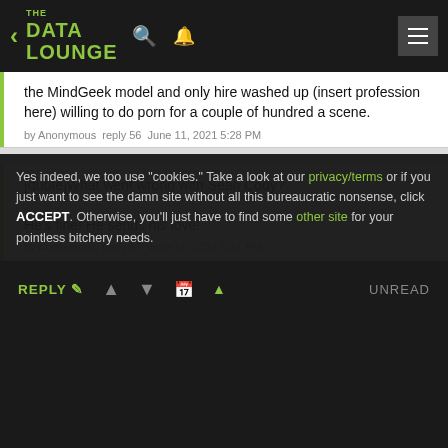THE DATA LOUNGE
the MindGeek model and only hire washed up (insert profession here) willing to do porn for a couple of hundred a scene.
by Anonymous  reply 56  June 11, 2021 5:28 PM
[quote]What went wrong with Sean Cody?

He's fine! He sends his love!
by Anonymous  reply 57  June 11, 2021 5:37 PM
I have a lot of the old SC videos downloaded, too. So glad I kept them.
Yes indeed, we too use "cookies." Take a look at our privacy/terms or if you just want to see the damn site without all this bureaucratic nonsense, click ACCEPT. Otherwise, you'll just have to find some other site for your pointless bitchery needs.
REPLY  ▲  ▼  📅 ▲  UNREAD